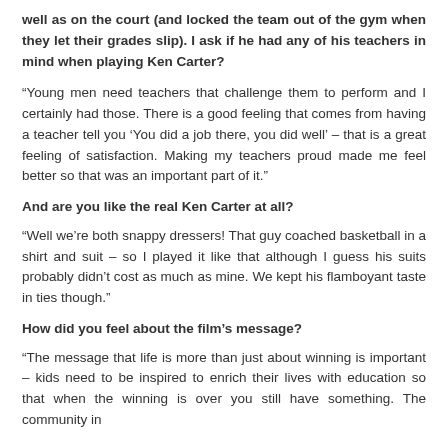well as on the court (and locked the team out of the gym when they let their grades slip). I ask if he had any of his teachers in mind when playing Ken Carter?
“Young men need teachers that challenge them to perform and I certainly had those. There is a good feeling that comes from having a teacher tell you ‘You did a job there, you did well’ – that is a great feeling of satisfaction. Making my teachers proud made me feel better so that was an important part of it.”
And are you like the real Ken Carter at all?
“Well we’re both snappy dressers! That guy coached basketball in a shirt and suit – so I played it like that although I guess his suits probably didn’t cost as much as mine. We kept his flamboyant taste in ties though.”
How did you feel about the film’s message?
“The message that life is more than just about winning is important – kids need to be inspired to enrich their lives with education so that when the winning is over you still have something. The community in